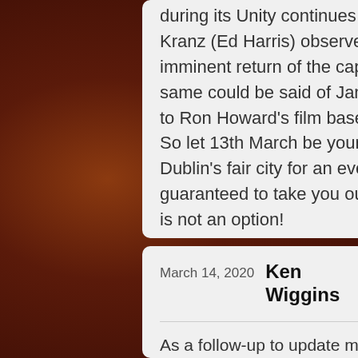during its Unity continues to mount, flight controller Gene Kranz (Ed Harris) observes to a doubtful colleague that the imminent return of the capsule will be their finest hour–the same could be said of James Horner's stellar contribution to Ron Howard's film based on the Apollo 13 story. So let 13th March be your lucky day by paying a visit to Dublin's fair city for an evening's entertainment that is guaranteed to take you out of this world. Failure to attend is not an option!
March 14, 2020  Ken Wiggins  Reply
As a follow-up to update my last comment, I have to report that on